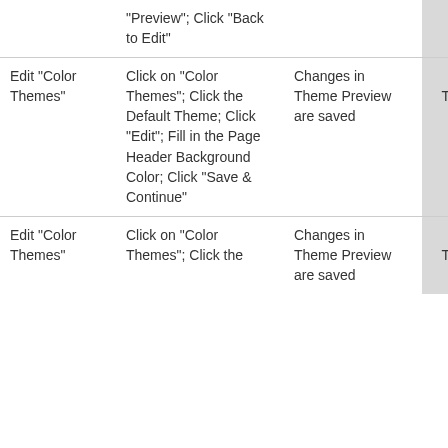| Feature | Steps | Expected Result | Status | Notes |
| --- | --- | --- | --- | --- |
|  | "Preview"; Click "Back to Edit" |  | Not Tested | - |
| Edit "Color Themes" | Click on "Color Themes"; Click the Default Theme; Click "Edit"; Fill in the Page Header Background Color; Click "Save & Continue" | Changes in Theme Preview are saved | Not Tested | - |
| Edit "Color Themes" | Click on "Color Themes"; Click the | Changes in Theme Preview are saved | Not Tested | - |